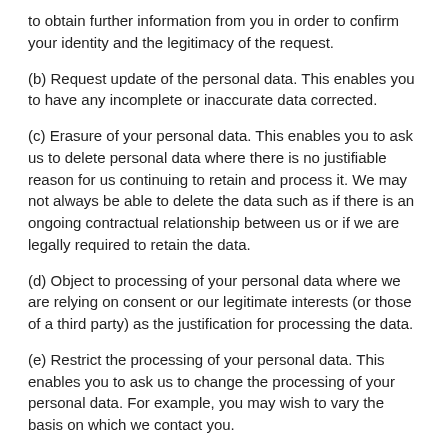to obtain further information from you in order to confirm your identity and the legitimacy of the request.
(b) Request update of the personal data. This enables you to have any incomplete or inaccurate data corrected.
(c) Erasure of your personal data. This enables you to ask us to delete personal data where there is no justifiable reason for us continuing to retain and process it. We may not always be able to delete the data such as if there is an ongoing contractual relationship between us or if we are legally required to retain the data.
(d) Object to processing of your personal data where we are relying on consent or our legitimate interests (or those of a third party) as the justification for processing the data.
(e) Restrict the processing of your personal data. This enables you to ask us to change the processing of your personal data. For example, you may wish to vary the basis on which we contact you.
(f) Request the transfer of your personal data to you or to a third party. We will provide to you, or a third party you have chosen, your personal data in a structured, machine-readable format.
(g) Withdraw consent. Where we are relying on consent to process your personal data you may withdraw that consent. If you withdraw